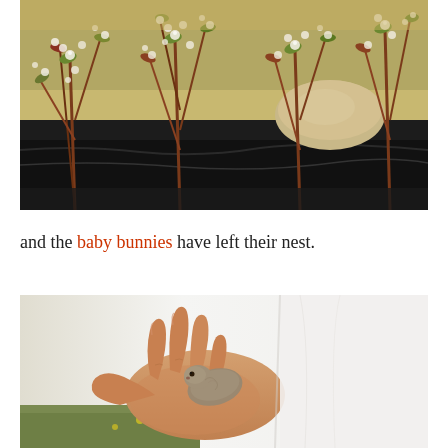[Figure (photo): Outdoor photo of flowering shrubs or blueberry bushes with small white blossoms and reddish stems, with black plastic mulch visible on the ground and a large rock in the background.]
and the baby bunnies have left their nest.
[Figure (photo): Close-up photo of a hand holding a small baby bunny against a white background with grass visible at the bottom.]